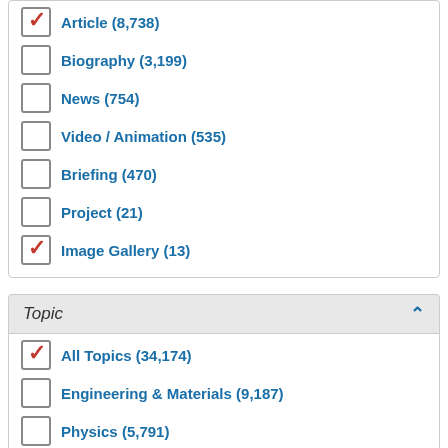Article (8,738)
Biography (3,199)
News (754)
Video / Animation (535)
Briefing (470)
Project (21)
Image Gallery (13)
Topic
All Topics (34,174)
Engineering & Materials (9,187)
Physics (5,791)
Biology & Biomedicine (5,051)
Earth Science (3,696)
Chemistry (2,848)
Zoology (2,718)
Health Sciences (2,371)
Astronomy & Space Science (2,020)
Botany (1,773)